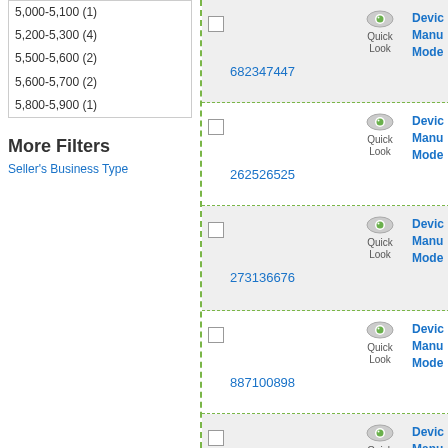5,000-5,100 (1)
5,200-5,300 (4)
5,500-5,600 (2)
5,600-5,700 (2)
5,800-5,900 (1)
More Filters
Seller's Business Type
682347447
262526525
273136676
887100898